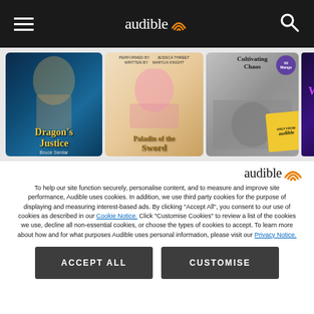Audible navigation bar with hamburger menu, Audible logo, and search icon
[Figure (screenshot): Row of audiobook covers: Dragon's Justice by Bruce Sentar, Paladin of the Sword (Performed by Jessica Threet, Written by Maryln Knight), Cultivating Chaos (Only from Audible), and a partially visible fourth cover]
[Figure (logo): Audible logo with orange signal/wifi icon]
To help our site function securely, personalise content, and to measure and improve site performance, Audible uses cookies. In addition, we use third party cookies for the purpose of displaying and measuring interest-based ads. By clicking “Accept All”, you consent to our use of cookies as described in our Cookie Notice. Click “Customise Cookies” to review a list of the cookies we use, decline all non-essential cookies, or choose the types of cookies to accept. To learn more about how and for what purposes Audible uses personal information, please visit our Privacy Notice.